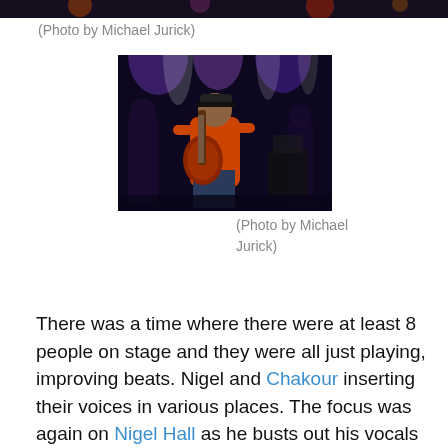[Figure (photo): Top edge of a concert photo, cropped — dark stage scene with colorful lights]
(Photo by Michael Jurick)
[Figure (photo): Musician in an orange T-shirt playing an electric guitar on stage under purple and white stage lights, with band members visible in background]
(Photo by Michael Jurick)
There was a time where there were at least 8 people on stage and they were all just playing, improving beats. Nigel and Chakour inserting their voices in various places. The focus was again on Nigel Hall as he busts out his vocals with “Making My Way Back Home.” Acclaimed Jazz pianist, James Hurt, popped in for a few minutes to tear up “Pass the Peas” and again for the encore of “By Any Schmeans Necessary.” Somewhere in the middle of all of